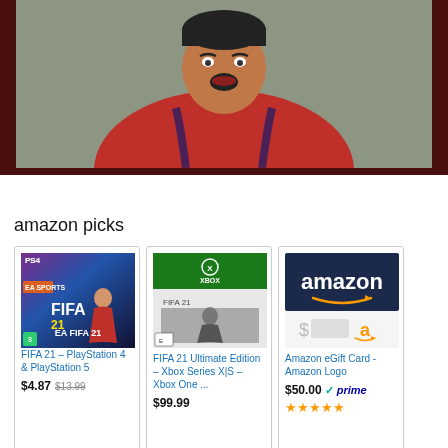[Figure (photo): Soccer player in red Arsenal jersey with mouth open, close-up photo]
amazon picks
[Figure (photo): FIFA 21 PlayStation 4 & PlayStation 5 game cover]
FIFA 21 – PlayStation 4 & PlayStation 5
$4.87  $13.99
[Figure (photo): FIFA 21 Ultimate Edition Xbox Series X|S Xbox One game cover]
FIFA 21 Ultimate Edition – Xbox Series X|S – Xbox One  ...
$99.99
[Figure (photo): Amazon eGift Card with Amazon logo on dark navy background]
Amazon eGift Card - Amazon Logo
$50.00  ✓prime